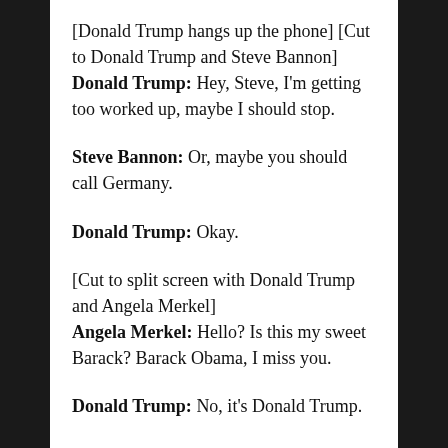[Donald Trump hangs up the phone] [Cut to Donald Trump and Steve Bannon] Donald Trump: Hey, Steve, I'm getting too worked up, maybe I should stop.
Steve Bannon: Or, maybe you should call Germany.
Donald Trump: Okay.
[Cut to split screen with Donald Trump and Angela Merkel] Angela Merkel: Hello? Is this my sweet Barack? Barack Obama, I miss you.
Donald Trump: No, it's Donald Trump.